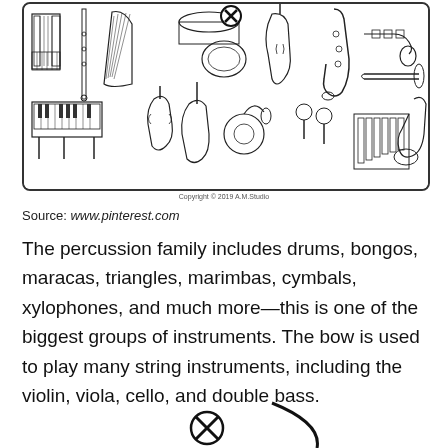[Figure (illustration): Collection of musical instruments drawn in black and white line art, including accordion, piano, violin, saxophone, drums, bass, harp, maracas, xylophone, tuba, trumpet, trombone, clarinet, and others. A large X/cross symbol is visible near the top center.]
Copyright © 2019 A.M.Studio
Source: www.pinterest.com
The percussion family includes drums, bongos, maracas, triangles, marimbas, cymbals, xylophones, and much more—this is one of the biggest groups of instruments. The bow is used to play many string instruments, including the violin, viola, cello, and double bass.
[Figure (illustration): Partial view of a large X/cross symbol and what appears to be a curved bow or arc shape at the bottom of the page.]